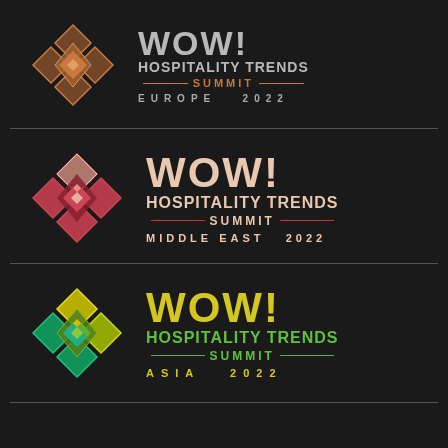[Figure (logo): WOW! Hospitality Trends Summit Europe 2022 logo with geometric diamond pattern in copper/bronze tones]
[Figure (logo): WOW! Hospitality Trends Summit Middle East 2022 logo with geometric diamond pattern in pink/red tones]
[Figure (logo): WOW! Hospitality Trends Summit Asia 2022 logo with geometric diamond pattern in yellow/green tones]